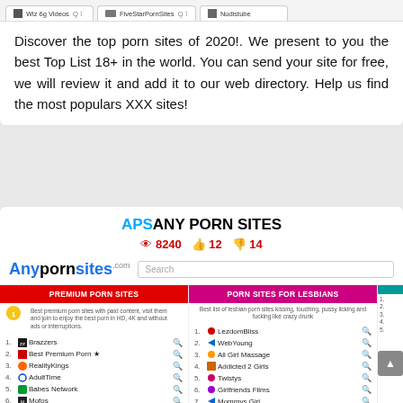[Figure (screenshot): Browser tabs showing Wiz 6g Videos, FiveStarPornSites, and Nudistube]
Discover the top porn sites of 2020!. We present to you the best Top List 18+ in the world. You can send your site for free, we will review it and add it to our web directory. Help us find the most populars XXX sites!
APS ANY PORN SITES
👁 8240  👍 12  👎 14
[Figure (screenshot): AnyPornSites.com website screenshot showing logo with search bar, Premium Porn Sites column listing Brazzers, Best Premium Porn, RealityKings, AdultTime, Babes Network, Mofos, NaughtyAmerica, and Porn Sites for Lesbians column listing LezdomBliss, WebYoung, All Girl Massage, Addicted 2 Girls, Twistys, Girlfriends Films, Mommys Girl, Dyked]